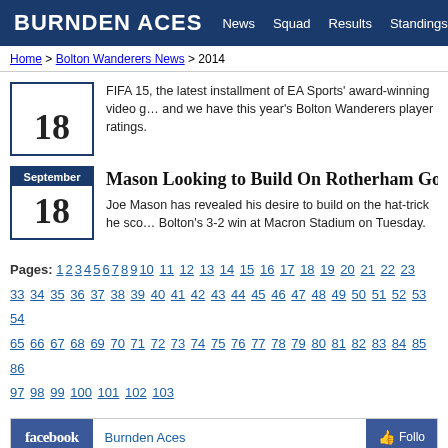BURNDEN ACES  News  Squad  Results  Standings
Home > Bolton Wanderers News > 2014
FIFA 15, the latest installment of EA Sports' award-winning video g… and we have this year's Bolton Wanderers player ratings.
Mason Looking to Build On Rotherham Go
Joe Mason has revealed his desire to build on the hat-trick he sco… Bolton's 3-2 win at Macron Stadium on Tuesday.
Pages: 1 2 3 4 5 6 7 8 9 10 11 12 13 14 15 16 17 18 19 20 21 22 23 33 34 35 36 37 38 39 40 41 42 43 44 45 46 47 48 49 50 51 52 53 54 65 66 67 68 69 70 71 72 73 74 75 76 77 78 79 80 81 82 83 84 85 86 97 98 99 100 101 102 103
[Figure (screenshot): Facebook page widget showing Burnden Aces with Follow button]